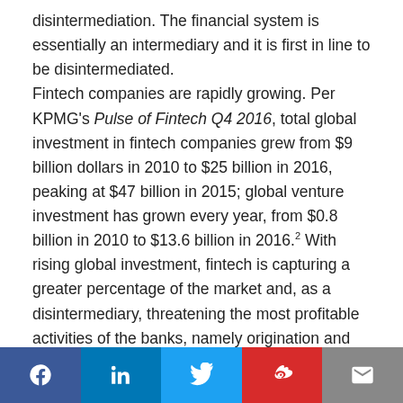disintermediation. The financial system is essentially an intermediary and it is first in line to be disintermediated.

Fintech companies are rapidly growing. Per KPMG's Pulse of Fintech Q4 2016, total global investment in fintech companies grew from $9 billion dollars in 2010 to $25 billion in 2016, peaking at $47 billion in 2015; global venture investment has grown every year, from $0.8 billion in 2010 to $13.6 billion in 2016.² With rising global investment, fintech is capturing a greater percentage of the market and, as a disintermediary, threatening the most profitable activities of the banks, namely origination and sales. According to McKinsey's Cutting Through the FinTech Noise: Markers of Success, Imperatives For Banks, origination and sales account for 60 percent of global
Social sharing bar: Facebook, LinkedIn, Twitter, Weibo, Email